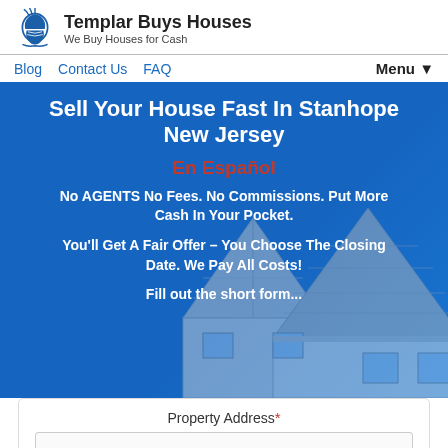Templar Buys Houses — We Buy Houses for Cash
Blog | Contact Us | FAQ | Menu
Sell Your House Fast In Stanhope New Jersey
En Español
No AGENTS No Fees. No Commissions. Put More Cash In Your Pocket.
You'll Get A Fair Offer – You Choose The Closing Date. We Pay All Costs!
Fill out the short form...
Property Address*